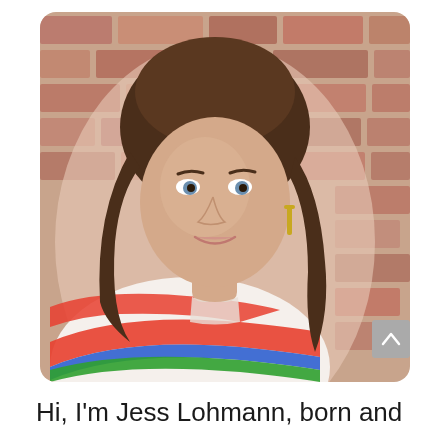[Figure (photo): Portrait photo of a woman with shoulder-length brown hair, wearing a white sweater with red, blue, and green horizontal stripes, smiling against a brick wall background. Gold hoop earring visible.]
Hi, I'm Jess Lohmann, born and